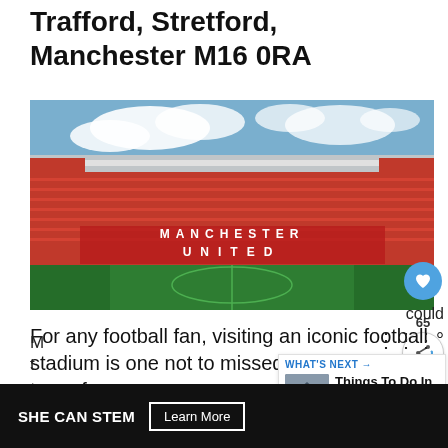Trafford, Stretford, Manchester M16 0RA
[Figure (photo): Panoramic interior view of Old Trafford stadium showing red seats with MANCHESTER UNITED lettering, green pitch, and roof structure against a blue sky with clouds.]
For any football fan, visiting an iconic football stadium is one not to missed. So taking a tour of
WHAT'S NEXT → Things To Do In Liverpool...
SHE CAN STEM  Learn More